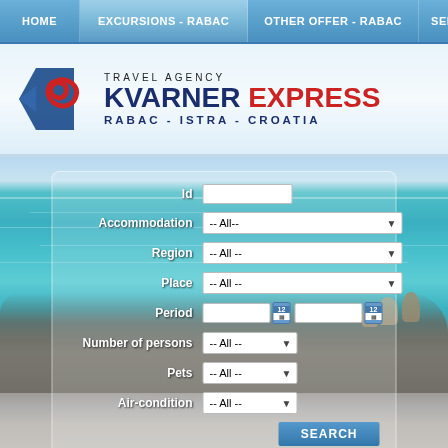HOME | EXCURSIONS - RABAC | OTHER OFFER - RABAC | SERV
[Figure (logo): Travel Agency Kvarner Express logo with stylized fish/wave icon, text: TRAVEL AGENCY KVARNER EXPRESS RABAC - ISTRA - CROATIA]
[Figure (screenshot): Website screenshot showing a search form for accommodation over a background photo of a rocky Croatian beach with clear turquoise water. Form fields: Id (text input), Accommodation (-- All-- dropdown), Region (-- All-- dropdown), Place (-- All-- dropdown), Period (two date inputs with calendar icons), Number of persons (-- All-- dropdown), Pets (-- All-- dropdown), Air-condition (-- All-- dropdown), SEARCH button.]